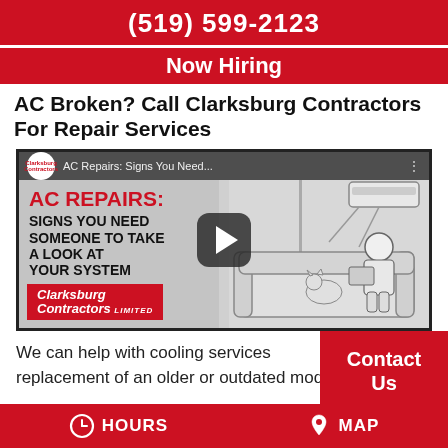(519) 599-2123
Now Hiring
AC Broken? Call Clarksburg Contractors For Repair Services
[Figure (screenshot): YouTube video thumbnail for 'AC Repairs: Signs You Need...' featuring Clarksburg Contractors Limited branding, with play button overlay and cartoon illustration of man and cat on sofa with AC unit on wall]
We can help with cooling services replacement of an older or outdated model to
Contact Us
HOURS   MAP